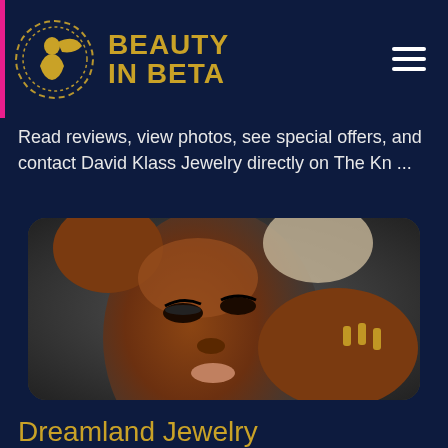BEAUTY IN BETA
Read reviews, view photos, see special offers, and contact David Klass Jewelry directly on The Kn ...
[Figure (photo): Close-up beauty portrait of a Black woman with dramatic makeup, long lashes, glossy lips, and ornate long nails, photographed against a dark grey background]
Dreamland Jewelry